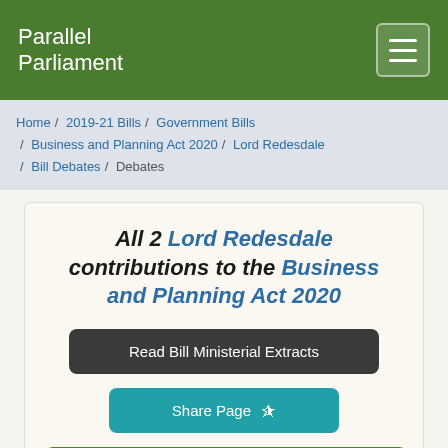Parallel Parliament
Home / 2019-21 Bills / Government Bills / Business and Planning Act 2020 / Lord Redesdale / Bill Debates / Debates
All 2 Lord Redesdale contributions to the Business and Planning Act 2020
Read Bill Ministerial Extracts
Share Page